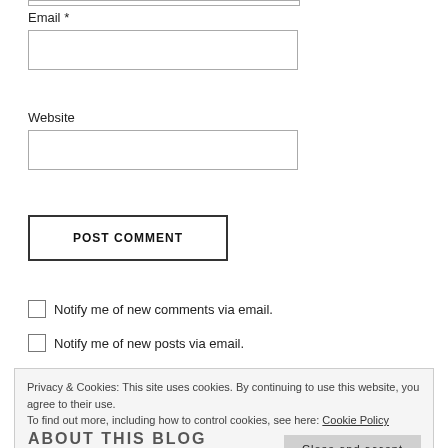Email *
Website
POST COMMENT
Notify me of new comments via email.
Notify me of new posts via email.
Privacy & Cookies: This site uses cookies. By continuing to use this website, you agree to their use. To find out more, including how to control cookies, see here: Cookie Policy
Close and accept
ABOUT THIS BLOG